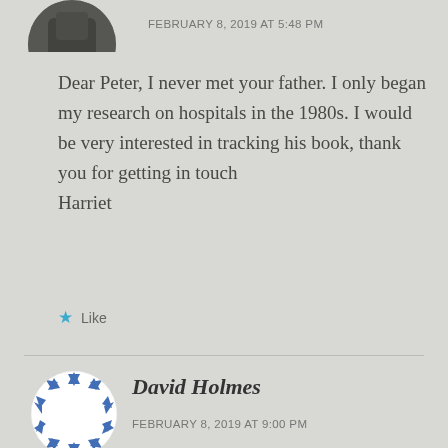[Figure (photo): Partial circular profile photo at top, showing a dark image, cropped at top edge]
FEBRUARY 8, 2019 AT 5:48 PM
Dear Peter, I never met your father. I only began my research on hospitals in the 1980s. I would be very interested in tracking his book, thank you for getting in touch
Harriet
Like
[Figure (illustration): Circular decorative avatar with blue and white geometric diamond/triangle pattern border]
David Holmes
FEBRUARY 8, 2019 AT 9:00 PM